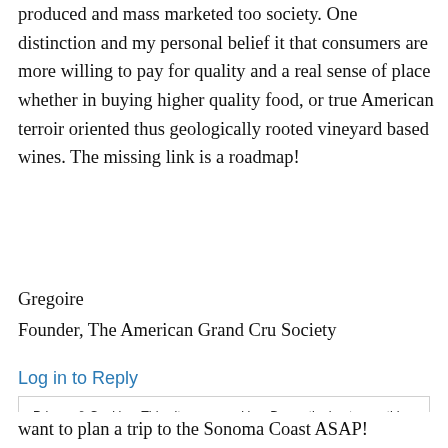produced and mass marketed too society. One distinction and my personal belief it that consumers are more willing to pay for quality and a real sense of place whether in buying higher quality food, or true American terroir oriented thus geologically rooted vineyard based wines. The missing link is a roadmap!
Gregoire
Founder, The American Grand Cru Society
Log in to Reply
Privacy & Cookies: This site uses cookies. By continuing to use this website, you agree to their use.
To find out more, including how to control cookies, see here: Cookie Policy
Close and accept
want to plan a trip to the Sonoma Coast ASAP!